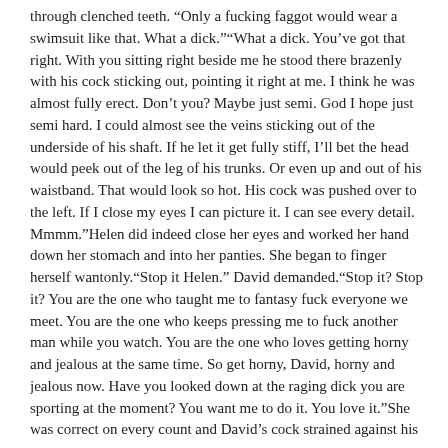through clenched teeth. “Only a fucking faggot would wear a swimsuit like that. What a dick.”“What a dick. You’ve got that right. With you sitting right beside me he stood there brazenly with his cock sticking out, pointing it right at me. I think he was almost fully erect. Don’t you? Maybe just semi. God I hope just semi hard. I could almost see the veins sticking out of the underside of his shaft. If he let it get fully stiff, I’ll bet the head would peek out of the leg of his trunks. Or even up and out of his waistband. That would look so hot. His cock was pushed over to the left. If I close my eyes I can picture it. I can see every detail. Mmmm.”Helen did indeed close her eyes and worked her hand down her stomach and into her panties. She began to finger herself wantonly.“Stop it Helen.” David demanded.“Stop it? Stop it? You are the one who taught me to fantasy fuck everyone we meet. You are the one who keeps pressing me to fuck another man while you watch. You are the one who loves getting horny and jealous at the same time. So get horny, David, horny and jealous now. Have you looked down at the raging dick you are sporting at the moment? You want me to do it. You love it.”She was correct on every count and David’s cock strained against his trousers. “That’s because you are masturbating beside me.”